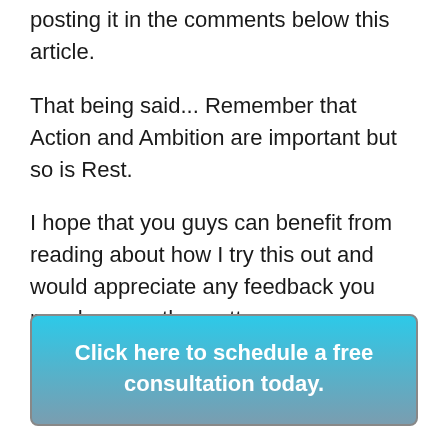posting it in the comments below this article.
That being said... Remember that Action and Ambition are important but so is Rest.
I hope that you guys can benefit from reading about how I try this out and would appreciate any feedback you may have on the matter.
Click here to schedule a free consultation today.